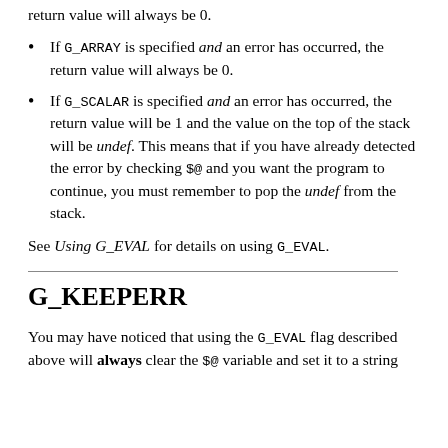return value will always be 0.
If G_ARRAY is specified and an error has occurred, the return value will always be 0.
If G_SCALAR is specified and an error has occurred, the return value will be 1 and the value on the top of the stack will be undef. This means that if you have already detected the error by checking $@ and you want the program to continue, you must remember to pop the undef from the stack.
See Using G_EVAL for details on using G_EVAL.
G_KEEPERR
You may have noticed that using the G_EVAL flag described above will always clear the $@ variable and set it to a string